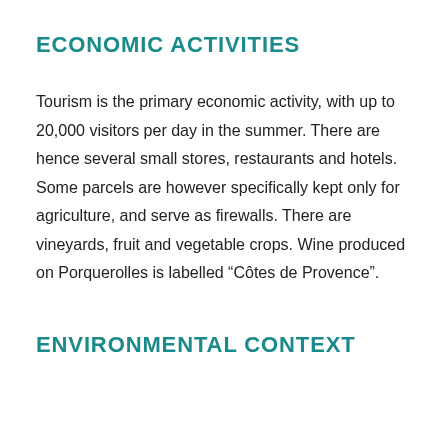ECONOMIC ACTIVITIES
Tourism is the primary economic activity, with up to 20,000 visitors per day in the summer. There are hence several small stores, restaurants and hotels. Some parcels are however specifically kept only for agriculture, and serve as firewalls. There are vineyards, fruit and vegetable crops. Wine produced on Porquerolles is labelled “Côtes de Provence”.
ENVIRONMENTAL CONTEXT